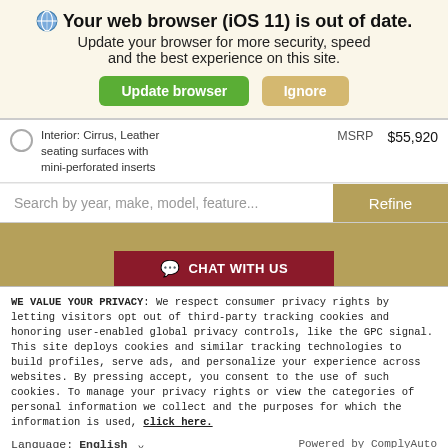Your web browser (iOS 11) is out of date. Update your browser for more security, speed and the best experience on this site.
Interior: Cirrus, Leather seating surfaces with mini-perforated inserts
MSRP $55,920
Search by year, make, model, feature...
CHAT WITH US
WE VALUE YOUR PRIVACY: We respect consumer privacy rights by letting visitors opt out of third-party tracking cookies and honoring user-enabled global privacy controls, like the GPC signal. This site deploys cookies and similar tracking technologies to build profiles, serve ads, and personalize your experience across websites. By pressing accept, you consent to the use of such cookies. To manage your privacy rights or view the categories of personal information we collect and the purposes for which the information is used, click here.
Language: English
Powered by ComplyAuto
Accept and Continue →
Privacy Policy